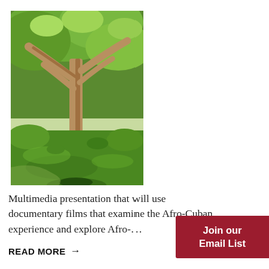[Figure (photo): Outdoor photograph of a park or garden area with a large tree in the foreground, green grass and lush foliage in the background, taken in daylight]
Multimedia presentation that will use documentary films that examine the Afro-Cuban experience and explore Afro-…
READ MORE →
Join our Email List